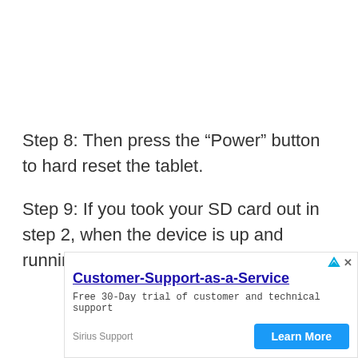Step 8: Then press the “Power” button to hard reset the tablet.
Step 9: If you took your SD card out in step 2, when the device is up and running again, reinsert the SD card.
[Figure (other): Advertisement banner for Customer-Support-as-a-Service by Sirius Support. Headline: Customer-Support-as-a-Service. Body: Free 30-Day trial of customer and technical support. Button: Learn More.]